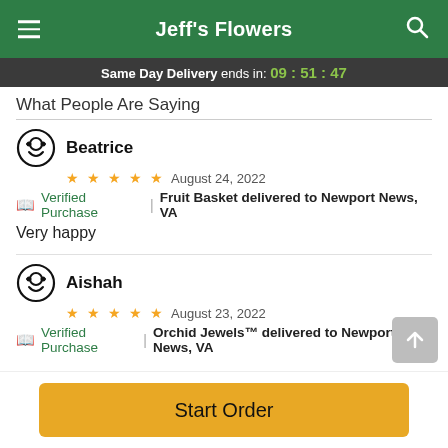Jeff's Flowers
Same Day Delivery ends in: 09:51:47
What People Are Saying
Beatrice
★★★★★  August 24, 2022
📖 Verified Purchase | Fruit Basket delivered to Newport News, VA
Very happy
Aishah
★★★★★  August 23, 2022
📖 Verified Purchase | Orchid Jewels™ delivered to Newport News, VA
Start Order